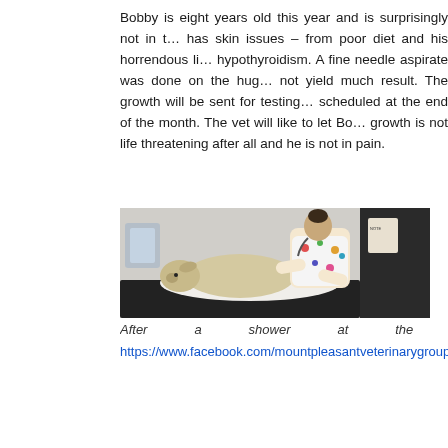Bobby is eight years old this year and is surprisingly not in t… has skin issues – from poor diet and his horrendous li… hypothyroidism. A fine needle aspirate was done on the hug… not yield much result. The growth will be sent for testing… scheduled at the end of the month. The vet will like to let Bo… growth is not life threatening after all and he is not in pain.
[Figure (photo): A veterinarian in colorful scrubs examining a light-colored dog on an examination table at a veterinary clinic.]
After a shower at the
https://www.facebook.com/mountpleasantveterinarygroup/pho…